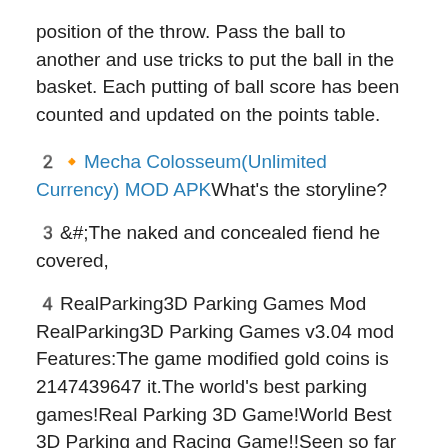position of the throw. Pass the ball to another and use tricks to put the ball in the basket. Each putting of ball score has been counted and updated on the points table.
2️⃣Mecha Colosseum(Unlimited Currency) MOD APKWhat's the storyline?
3️&#;The naked and concealed fiend he covered,
4️RealParking3D Parking Games Mod RealParking3D Parking Games v3.04 mod Features:The game modified gold coins is 2147439647 it.The world's best parking games!Real Parking 3D Game!World Best 3D Parking and Racing Game!!Seen so far is not the most realistic Parking Actual and parking skills will be taught To